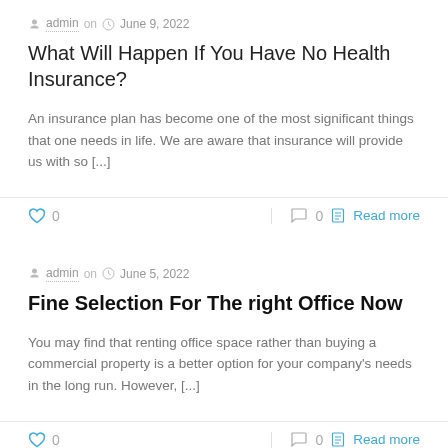admin on  June 9, 2022
What Will Happen If You Have No Health Insurance?
An insurance plan has become one of the most significant things that one needs in life. We are aware that insurance will provide us with so [...]
0  0  Read more
admin on  June 5, 2022
Fine Selection For The right Office Now
You may find that renting office space rather than buying a commercial property is a better option for your company's needs in the long run. However, [...]
0  0  Read more